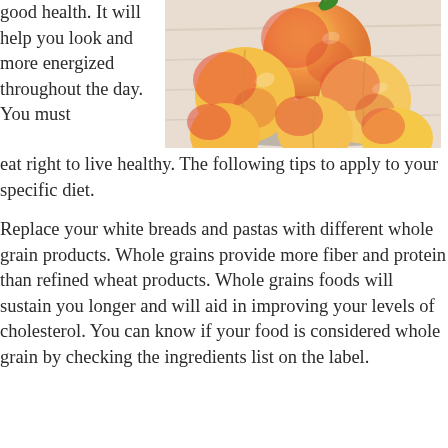good health. It will help you look and more energized throughout the day. You must eat right to live healthy. The following tips to apply to your specific diet.
[Figure (photo): A pile of fresh peaches on a light wooden surface.]
Replace your white breads and pastas with different whole grain products. Whole grains provide more fiber and protein than refined wheat products. Whole grains foods will sustain you longer and will aid in improving your levels of cholesterol. You can know if your food is considered whole grain by checking the ingredients list on the label.